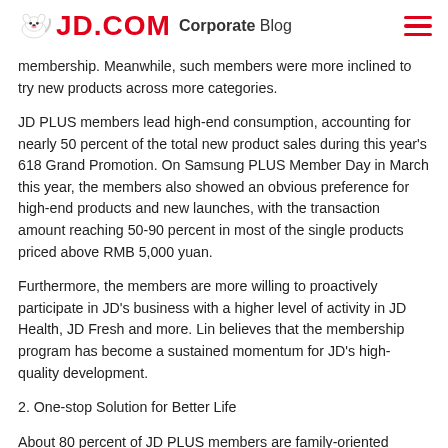JD.COM Corporate Blog
membership. Meanwhile, such members were more inclined to try new products across more categories.
JD PLUS members lead high-end consumption, accounting for nearly 50 percent of the total new product sales during this year's 618 Grand Promotion. On Samsung PLUS Member Day in March this year, the members also showed an obvious preference for high-end products and new launches, with the transaction amount reaching 50-90 percent in most of the single products priced above RMB 5,000 yuan.
Furthermore, the members are more willing to proactively participate in JD's business with a higher level of activity in JD Health, JD Fresh and more. Lin believes that the membership program has become a sustained momentum for JD's high-quality development.
2. One-stop Solution for Better Life
About 80 percent of JD PLUS members are family-oriented users, meaning that daily necessities are crucial